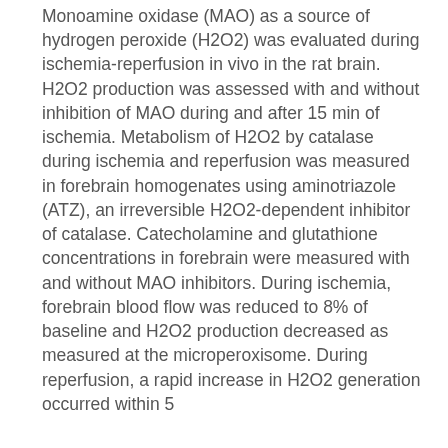Monoamine oxidase (MAO) as a source of hydrogen peroxide (H2O2) was evaluated during ischemia-reperfusion in vivo in the rat brain. H2O2 production was assessed with and without inhibition of MAO during and after 15 min of ischemia. Metabolism of H2O2 by catalase during ischemia and reperfusion was measured in forebrain homogenates using aminotriazole (ATZ), an irreversible H2O2-dependent inhibitor of catalase. Catecholamine and glutathione concentrations in forebrain were measured with and without MAO inhibitors. During ischemia, forebrain blood flow was reduced to 8% of baseline and H2O2 production decreased as measured at the microperoxisome. During reperfusion, a rapid increase in H2O2 generation occurred within 5